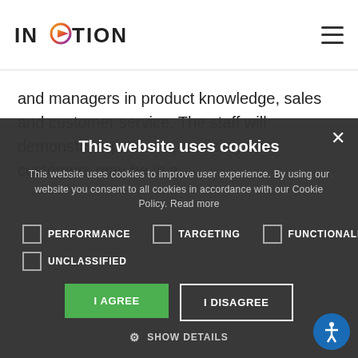[Figure (logo): InMotion logo with stylized play button O in orange/purple gradient]
[Figure (other): Hamburger menu icon (three horizontal lines)]
and managers in product knowledge, sales and customer service. The staff will demonstrate products, realizing that customers may be in a
This website uses cookies
This website uses cookies to improve user experience. By using our website you consent to all cookies in accordance with our Cookie Policy. Read more
PERFORMANCE
TARGETING
FUNCTIONALITY
UNCLASSIFIED
I AGREE
I DISAGREE
SHOW DETAILS